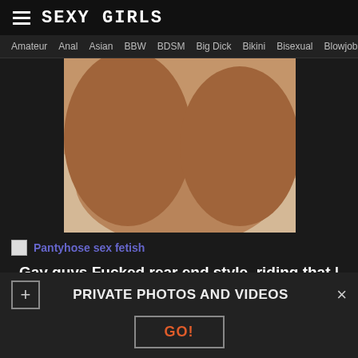SEXY GIRLS
Amateur  Anal  Asian  BBW  BDSM  Big Dick  Bikini  Bisexual  Blowjob  Boobs
[Figure (photo): Close-up photo of human body on white background]
Pantyhose sex fetish
Gay guys Fucked rear end style, riding that | Redtube Free Gay Porn
[Figure (photo): Partial photo of a person with blonde hair]
PRIVATE PHOTOS AND VIDEOS
GO!